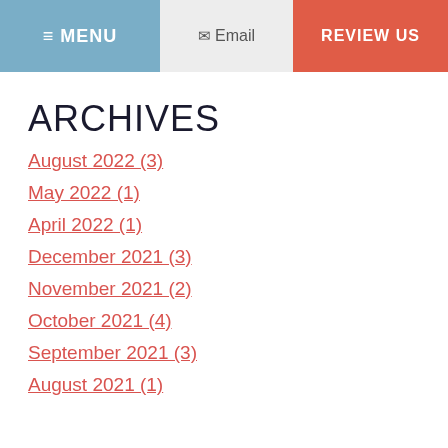MENU | Email | REVIEW US
ARCHIVES
August 2022 (3)
May 2022 (1)
April 2022 (1)
December 2021 (3)
November 2021 (2)
October 2021 (4)
September 2021 (3)
August 2021 (1)